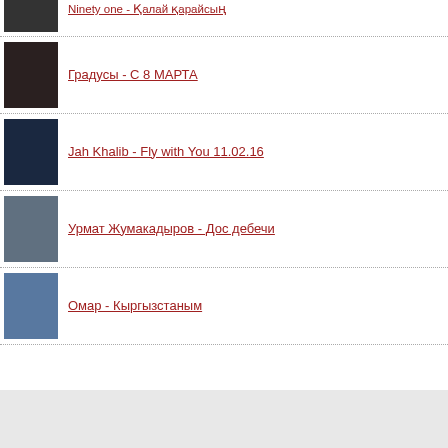Ninety one - Қалай қарайсың
Градусы - С 8 МАРТА
Jah Khalib - Fly with You 11.02.16
Урмат Жумакадыров - Дос дебечи
Омар - Кыргызстаным